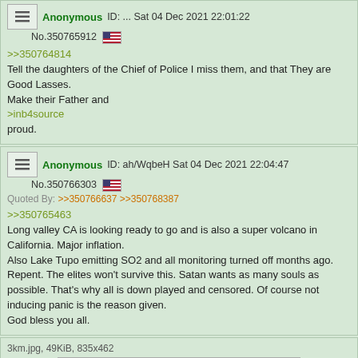Anonymous ID: ... Sat 04 Dec 2021 22:01:22 No.350765912
>>350764814
Tell the daughters of the Chief of Police I miss them, and that They are Good Lasses.
Make their Father and
>inb4source
proud.
Anonymous ID: ah/WqbeH Sat 04 Dec 2021 22:04:47 No.350766303
Quoted By: >>350766637 >>350768387
>>350765463
Long valley CA is looking ready to go and is also a super volcano in California. Major inflation.
Also Lake Tupo emitting SO2 and all monitoring turned off months ago.
Repent. The elites won't survive this. Satan wants as many souls as possible. That's why all is down played and censored. Of course not inducing panic is the reason given.
God bless you all.
3km.jpg, 49KiB, 835x462
[Figure (photo): Partial view of a map or satellite image, blue/grey tones]